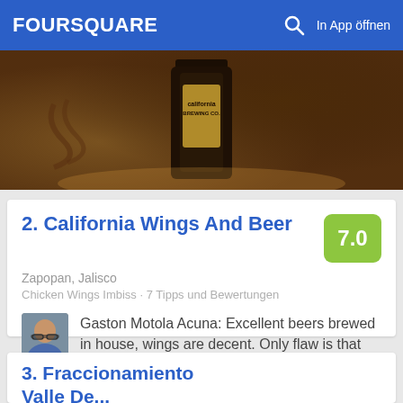FOURSQUARE  In App öffnen
[Figure (photo): Photo of a California Brewing Co. beer bottle on a table with warm amber/brown tones]
2. California Wings And Beer
Zapopan, Jalisco
Chicken Wings Imbiss · 7 Tipps und Bewertungen
Gaston Motola Acuna: Excellent beers brewed in house, wings are decent. Only flaw is that their spiciest wing, it's not spicy at all.
3. Fraccionamiento Valle De...